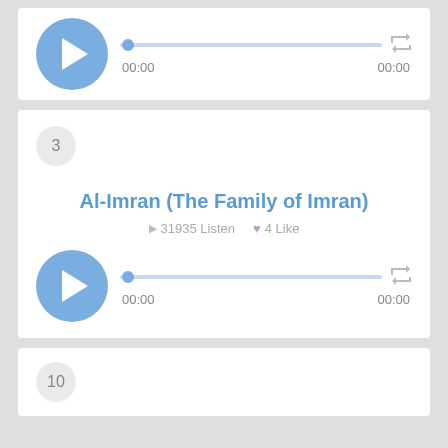[Figure (screenshot): Audio player card (top, partial) with play button, progress bar showing 00:00 / 00:00, and repeat icon]
3
Al-Imran (The Family of Imran)
31935 Listen   4 Like
[Figure (screenshot): Audio player with blue play button, progress bar at 00:00, and repeat icon, timestamps 00:00 / 00:00]
10